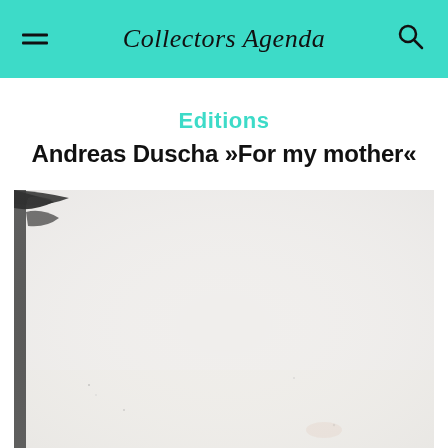Collectors Agenda
Editions
Andreas Duscha »For my mother«
[Figure (photo): A nearly blank, white photographic or printed artwork with faint smudges and a dark edge mark on the upper left corner, showing a light-colored surface with minimal texture and small scattered marks.]